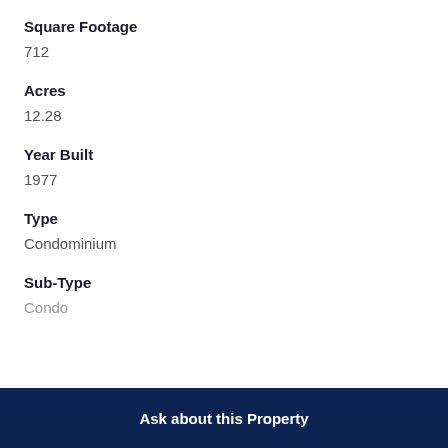Square Footage
712
Acres
12.28
Year Built
1977
Type
Condominium
Sub-Type
Condo
Ask about this Property